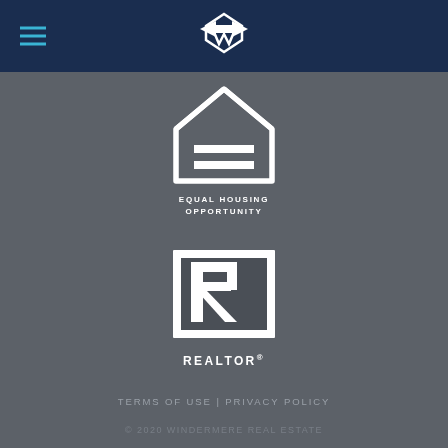[Figure (logo): Windermere Real Estate logo centered in dark navy header bar, with hamburger menu icon on left]
[Figure (logo): Equal Housing Opportunity logo: white house outline with equals sign, text EQUAL HOUSING OPPORTUNITY below]
[Figure (logo): REALTOR logo: white square with large dark R lettermark, REALTOR with registered trademark symbol below]
TERMS OF USE | PRIVACY POLICY
© 2020 WINDERMERE REAL ESTATE